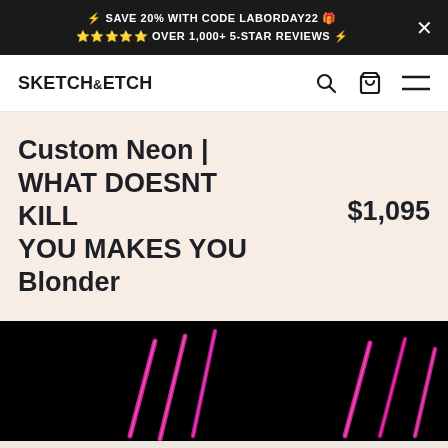⚡ SAVE 20% WITH CODE LABORDAY22 🎁 ⭐⭐⭐⭐⭐ OVER 1,000+ 5-STAR REVIEWS ⚡
SKETCH&ETCH
Custom Neon | WHAT DOESNT KILL YOU MAKES YOU Blonder
$1,095
[Figure (photo): Dark black background with pink/magenta neon light signs partially visible]
Add To Cart - $1,095